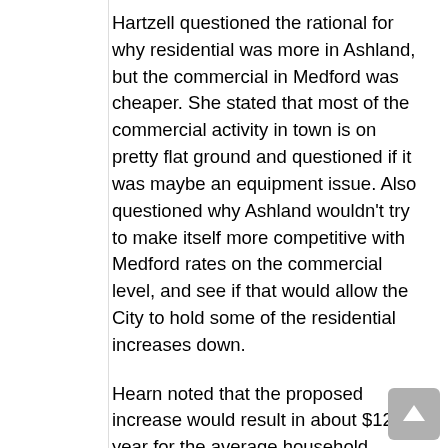Hartzell questioned the rational for why residential was more in Ashland, but the commercial in Medford was cheaper. She stated that most of the commercial activity in town is on pretty flat ground and questioned if it was maybe an equipment issue. Also questioned why Ashland wouldn't try to make itself more competitive with Medford rates on the commercial level, and see if that would allow the City to hold some of the residential increases down.
Hearn noted that the proposed increase would result in about $12 a year for the average household.
Russell Chapman, Vice President of Ashland Sanitary explained that Ashland's rates are quite close to Medford's in most areas, but it is difficult to compare between the two different companies. He explained there is an economy of scale with Medford's customer base and that they are a little more heavily weighted